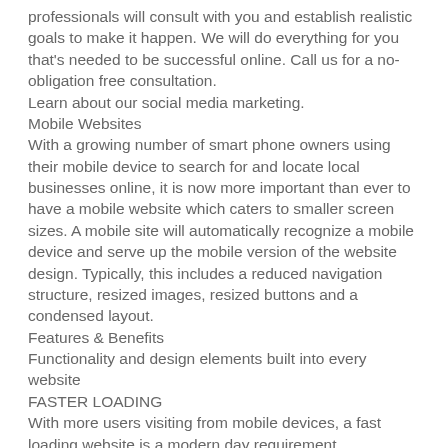professionals will consult with you and establish realistic goals to make it happen. We will do everything for you that's needed to be successful online. Call us for a no-obligation free consultation.
Learn about our social media marketing.
Mobile Websites
With a growing number of smart phone owners using their mobile device to search for and locate local businesses online, it is now more important than ever to have a mobile website which caters to smaller screen sizes. A mobile site will automatically recognize a mobile device and serve up the mobile version of the website design. Typically, this includes a reduced navigation structure, resized images, resized buttons and a condensed layout.
Features & Benefits
Functionality and design elements built into every website
FASTER LOADING
With more users visiting from mobile devices, a fast loading website is a modern day requirement.